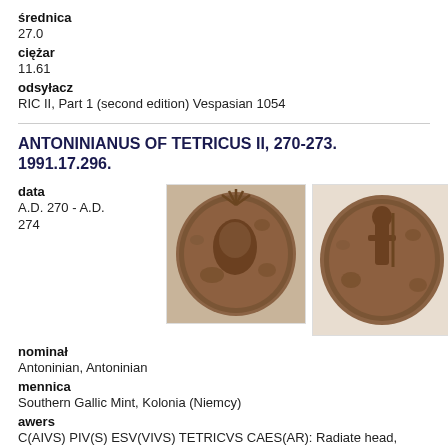średnica
27.0
ciężar
11.61
odsyłacz
RIC II, Part 1 (second edition) Vespasian 1054
ANTONINIANUS OF TETRICUS II, 270-273. 1991.17.296.
data
A.D. 270 - A.D. 274
[Figure (photo): Obverse of ancient Roman coin, Antoninianus of Tetricus II, showing radiate head]
[Figure (photo): Reverse of ancient Roman coin, Antoninianus of Tetricus II]
nominał
Antoninian, Antoninian
mennica
Southern Gallic Mint, Kolonia (Niemcy)
awers
C(AIVS) PIV(S) ESV(VIVS) TETRICVS CAES(AR): Radiate head, right, draped